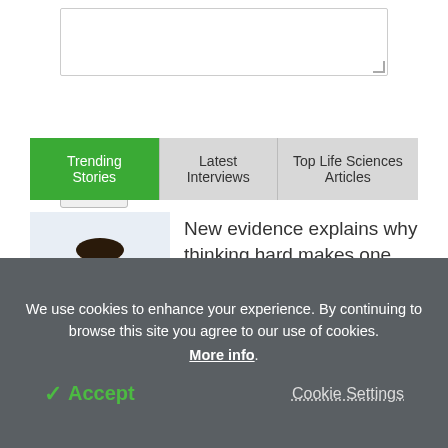[Figure (screenshot): Empty textarea input box for comment or post]
Post
Trending Stories | Latest Interviews | Top Life Sciences Articles
[Figure (photo): Man in blue shirt with glasses, sitting at desk with books, holding head in hands, appearing stressed or exhausted]
New evidence explains why thinking hard makes one feel worn out
We use cookies to enhance your experience. By continuing to browse this site you agree to our use of cookies. More info.
✓ Accept
Cookie Settings